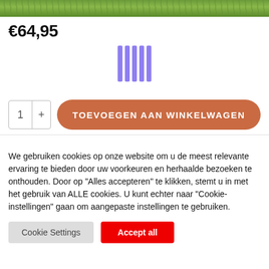[Figure (photo): Green grass/plant image as page top banner]
€64,95
[Figure (other): Vertical loading spinner — five blue-purple vertical bars]
1 + TOEVOEGEN AAN WINKELWAGEN
We gebruiken cookies op onze website om u de meest relevante ervaring te bieden door uw voorkeuren en herhaalde bezoeken te onthouden. Door op "Alles accepteren" te klikken, stemt u in met het gebruik van ALLE cookies. U kunt echter naar "Cookie-instellingen" gaan om aangepaste instellingen te gebruiken.
Cookie Settings | Accept all